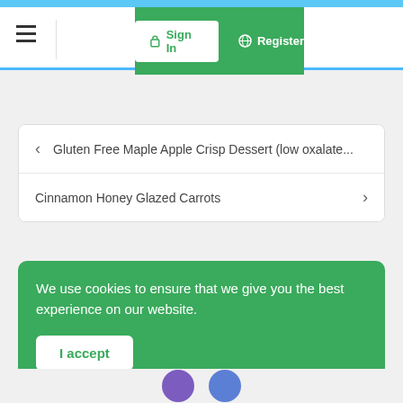[Figure (screenshot): Website navigation bar with hamburger menu, Sign In button, and Register link on green background]
[Figure (screenshot): Search bar area, light gray background]
< Gluten Free Maple Apple Crisp Dessert (low oxalate...
Cinnamon Honey Glazed Carrots >
We use cookies to ensure that we give you the best experience on our website.
I accept